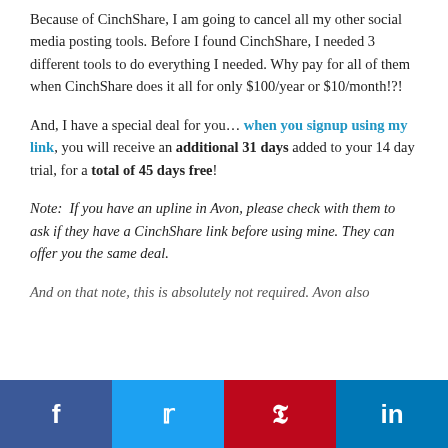Because of CinchShare, I am going to cancel all my other social media posting tools. Before I found CinchShare, I needed 3 different tools to do everything I needed. Why pay for all of them when CinchShare does it all for only $100/year or $10/month!?!
And, I have a special deal for you… when you signup using my link, you will receive an additional 31 days added to your 14 day trial, for a total of 45 days free!
Note:  If you have an upline in Avon, please check with them to ask if they have a CinchShare link before using mine. They can offer you the same deal.
And on that note, this is absolutely not required. Avon also